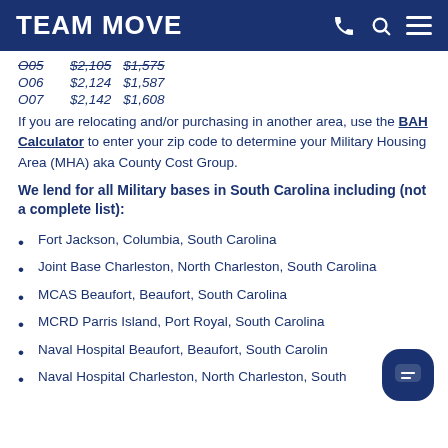TEAM MOVE
| O05 | $2,105 | $1,575 |
| O06 | $2,124 | $1,587 |
| O07 | $2,142 | $1,608 |
If you are relocating and/or purchasing in another area, use the BAH Calculator to enter your zip code to determine your Military Housing Area (MHA) aka County Cost Group.
We lend for all Military bases in South Carolina including (not a complete list):
Fort Jackson, Columbia, South Carolina
Joint Base Charleston, North Charleston, South Carolina
MCAS Beaufort, Beaufort, South Carolina
MCRD Parris Island, Port Royal, South Carolina
Naval Hospital Beaufort, Beaufort, South Carolina
Naval Hospital Charleston, North Charleston, South Carolina